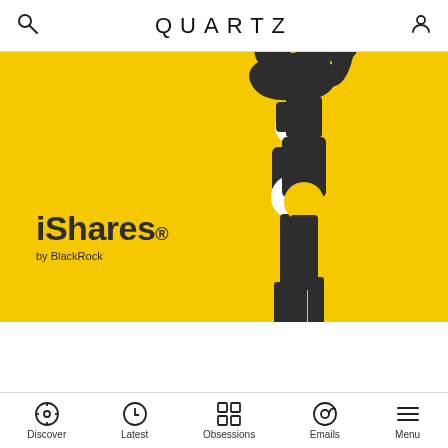QUARTZ
[Figure (logo): iShares by BlackRock advertisement banner on yellow background with a dark stylized clamp/pliers figure illustration]
GREEN EGGS AND HAM
How sustainable are the contents of your
Discover  Latest  Obsessions  Emails  Menu